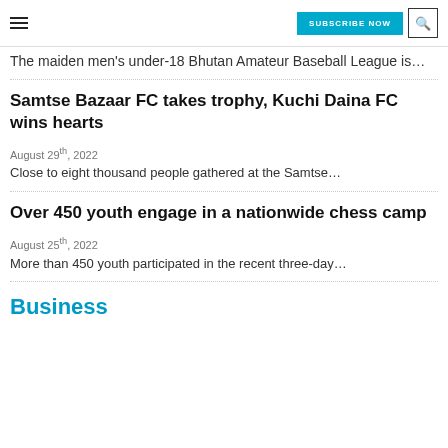SUBSCRIBE NOW | search icon
The maiden men's under-18 Bhutan Amateur Baseball League is…
Samtse Bazaar FC takes trophy, Kuchi Daina FC wins hearts
August 29th, 2022
Close to eight thousand people gathered at the Samtse…
Over 450 youth engage in a nationwide chess camp
August 25th, 2022
More than 450 youth participated in the recent three-day…
Business